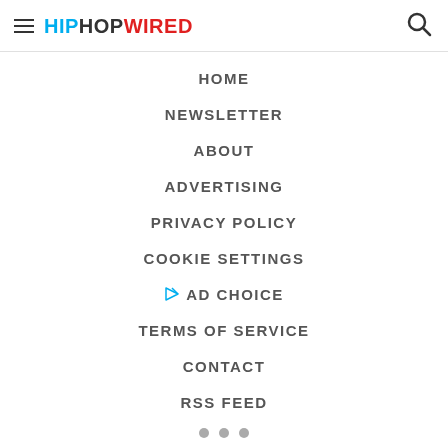HIPHOPWIRED
HOME
NEWSLETTER
ABOUT
ADVERTISING
PRIVACY POLICY
COOKIE SETTINGS
AD CHOICE
TERMS OF SERVICE
CONTACT
RSS FEED